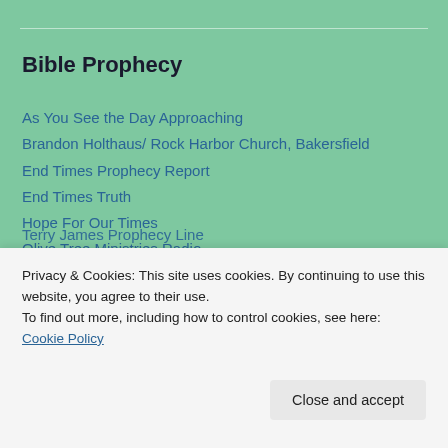Bible Prophecy
As You See the Day Approaching
Brandon Holthaus/ Rock Harbor Church, Bakersfield
End Times Prophecy Report
End Times Truth
Hope For Our Times
Olive Tree Ministries Radio
Rapture Forums
Rapture Ready
Stew Peters TV
Terry James Prophecy Line
Privacy & Cookies: This site uses cookies. By continuing to use this website, you agree to their use.
To find out more, including how to control cookies, see here: Cookie Policy
Close and accept